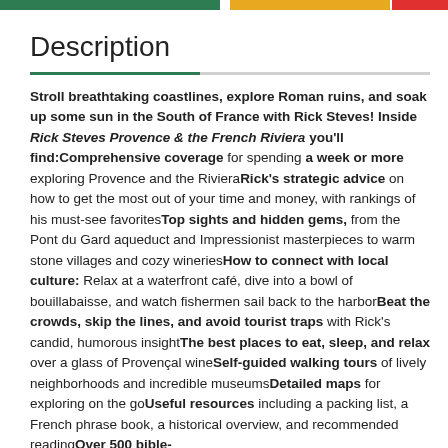Description
Stroll breathtaking coastlines, explore Roman ruins, and soak up some sun in the South of France with Rick Steves! Inside Rick Steves Provence & the French Riviera you'll find:Comprehensive coverage for spending a week or more exploring Provence and the RivieraRick's strategic advice on how to get the most out of your time and money, with rankings of his must-see favoritesTop sights and hidden gems, from the Pont du Gard aqueduct and Impressionist masterpieces to warm stone villages and cozy wineriesHow to connect with local culture: Relax at a waterfront café, dive into a bowl of bouillabaisse, and watch fishermen sail back to the harborBeat the crowds, skip the lines, and avoid tourist traps with Rick's candid, humorous insightThe best places to eat, sleep, and relax over a glass of Provençal wineSelf-guided walking tours of lively neighborhoods and incredible museumsDetailed maps for exploring on the goUseful resources including a packing list, a French phrase book, a historical overview, and recommended readingOver 500 bible-